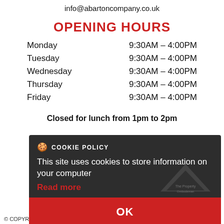info@abartoncompany.co.uk
OPENING HOURS
| Day | Hours |
| --- | --- |
| Monday | 9:30AM - 4:00PM |
| Tuesday | 9:30AM - 4:00PM |
| Wednesday | 9:30AM - 4:00PM |
| Thursday | 9:30AM - 4:00PM |
| Friday | 9:30AM - 4:00PM |
Closed for lunch from 1pm to 2pm
[Figure (screenshot): Cookie policy popup dialog with dark background, showing COOKIE POLICY title, text 'This site uses cookies to store information on your computer', a red 'Read more' link, The Property Ombudsman logo watermark, and a red OK button. Below the popup are LOGIN | REGISTER links in red.]
© COPYRIGHT | DESIGNED &  LOGIN | REGISTER